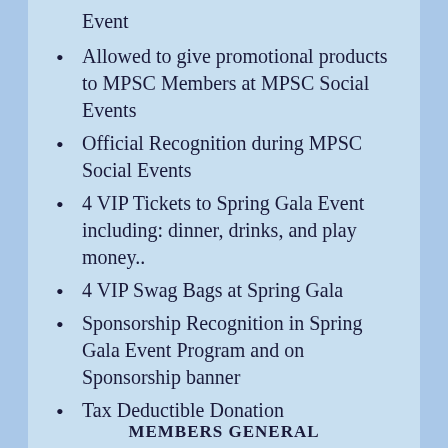Event
Allowed to give promotional products to MPSC Members at MPSC Social Events
Official Recognition during MPSC Social Events
4 VIP Tickets to Spring Gala Event including: dinner, drinks, and play money..
4 VIP Swag Bags at Spring Gala
Sponsorship Recognition in Spring Gala Event Program and on Sponsorship banner
Tax Deductible Donation
MEMBERS GENERAL